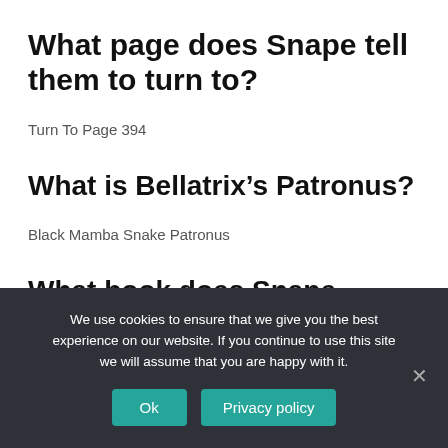What page does Snape tell them to turn to?
Turn To Page 394
What is Bellatrix’s Patronus?
Black Mamba Snake Patronus
What book does Snape always say?
We use cookies to ensure that we give you the best experience on our website. If you continue to use this site we will assume that you are happy with it.